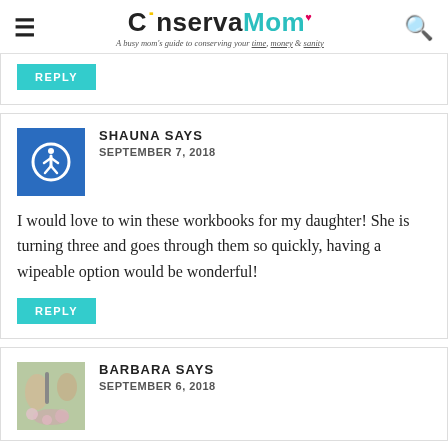ConservaMom – A busy mom's guide to conserving your time, money & sanity
REPLY
SHAUNA SAYS
SEPTEMBER 7, 2018
I would love to win these workbooks for my daughter! She is turning three and goes through them so quickly, having a wipeable option would be wonderful!
REPLY
BARBARA SAYS
SEPTEMBER 6, 2018